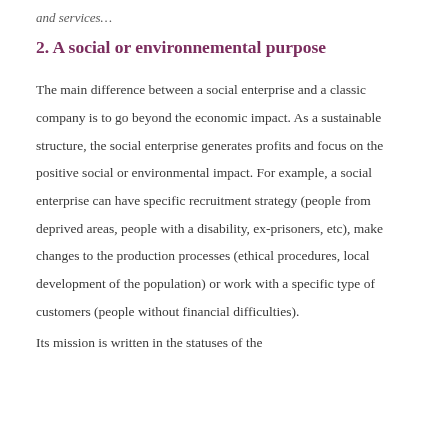and services…
2. A social or environnemental purpose
The main difference between a social enterprise and a classic company is to go beyond the economic impact. As a sustainable structure, the social enterprise generates profits and focus on the positive social or environmental impact. For example, a social enterprise can have specific recruitment strategy (people from deprived areas, people with a disability, ex-prisoners, etc), make changes to the production processes (ethical procedures, local development of the population) or work with a specific type of customers (people without financial difficulties).
Its mission is written in the statuses of the